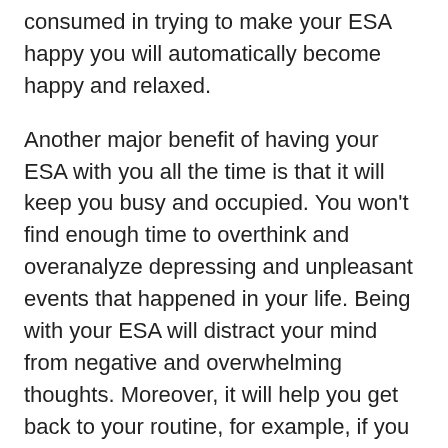consumed in trying to make your ESA happy you will automatically become happy and relaxed.
Another major benefit of having your ESA with you all the time is that it will keep you busy and occupied. You won't find enough time to overthink and overanalyze depressing and unpleasant events that happened in your life. Being with your ESA will distract your mind from negative and overwhelming thoughts. Moreover, it will help you get back to your routine, for example, if you stay with your ESA all the time you have to take care of them as well which can make you want to sleep early.
Physical activities
Your emotional support animal will require a proper routine, regular walk, exercise, visits